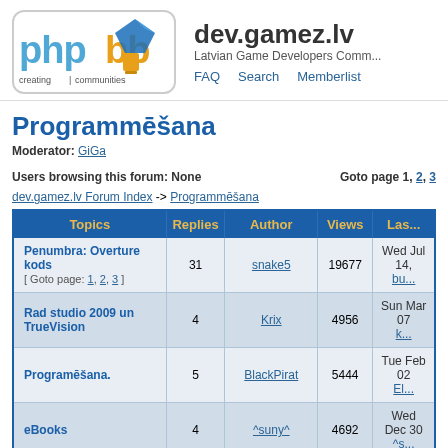[Figure (logo): phpBB logo - creating communities]
dev.gamez.lv
Latvian Game Developers Comm...
FAQ   Search   Memberlist
Programmēšana
Moderator: GiGa
Users browsing this forum: None	Goto page 1, 2, 3
dev.gamez.lv Forum Index -> Programmēšana
| Topics | Replies | Author | Views | Las... |
| --- | --- | --- | --- | --- |
| Penumbra: Overture kods [ Goto page: 1, 2, 3 ] | 31 | snake5 | 19677 | Wed Jul 14, bu... |
| Rad studio 2009 un TrueVision | 4 | Krix | 4956 | Sun Mar 07, k... |
| Programēšana. | 5 | BlackPirat | 5444 | Tue Feb 02, El... |
| eBooks | 4 | ^suny^ | 4692 | Wed Dec 30, ^s... |
| unreal engine 3 free for non-commercial [ Goto page: 1, 2 ] | 17 | Vecais Dumais Laacis | 12375 | Thu Nov 12, El... |